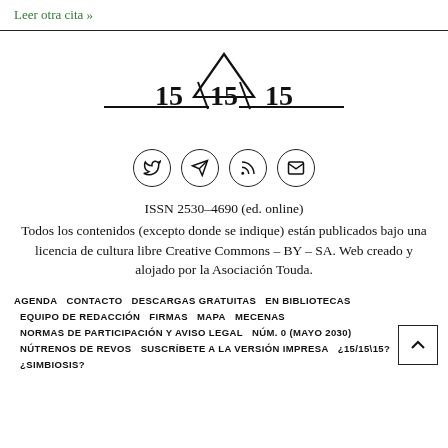Leer otra cita »
[Figure (logo): 15/15/15 logo with triangle above the numbers and horizontal lines on each side]
[Figure (infographic): Four social media/contact icons in circles: Twitter bird, Telegram, RSS feed, Email envelope]
ISSN 2530-4690 (ed. online)
Todos los contenidos (excepto donde se indique) están publicados bajo una licencia de cultura libre Creative Commons – BY – SA. Web creado y alojado por la Asociación Touda.
AGENDA  CONTACTO  DESCARGAS GRATUITAS  EN BIBLIOTECAS  EQUIPO DE REDACCIÓN  FIRMAS  MAPA  MECENAS  NORMAS DE PARTICIPACIÓN Y AVISO LEGAL  NÚM. 0 (MAYO 2030)  NÚTRENOS DE REVOS  SUSCRÍBETE A LA VERSIÓN IMPRESA  ¿15/15\15?  ¿SIMBIOSIS?